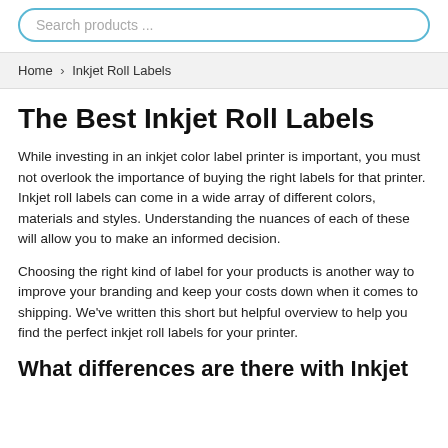Search products ...
Home > Inkjet Roll Labels
The Best Inkjet Roll Labels
While investing in an inkjet color label printer is important, you must not overlook the importance of buying the right labels for that printer. Inkjet roll labels can come in a wide array of different colors, materials and styles. Understanding the nuances of each of these will allow you to make an informed decision.
Choosing the right kind of label for your products is another way to improve your branding and keep your costs down when it comes to shipping. We've written this short but helpful overview to help you find the perfect inkjet roll labels for your printer.
What differences are there with Inkjet